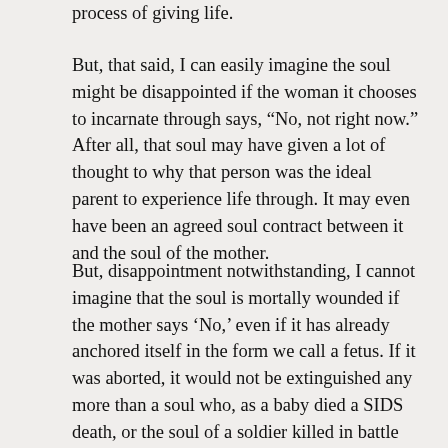process of giving life.
But, that said, I can easily imagine the soul might be disappointed if the woman it chooses to incarnate through says, “No, not right now.” After all, that soul may have given a lot of thought to why that person was the ideal parent to experience life through. It may even have been an agreed soul contract between it and the soul of the mother.
But, disappointment notwithstanding, I cannot imagine that the soul is mortally wounded if the mother says ‘No,’ even if it has already anchored itself in the form we call a fetus. If it was aborted, it would not be extinguished any more than a soul who, as a baby died a SIDS death, or the soul of a soldier killed in battle would be snuffed out. The soul cannot die. It simply goes back home to the spiritual realm, in all probability, no worse for wear but perhaps having experienced something instructive and valuable.